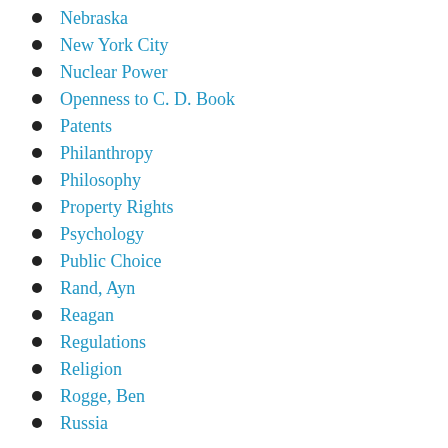Nebraska
New York City
Nuclear Power
Openness to C. D. Book
Patents
Philanthropy
Philosophy
Property Rights
Psychology
Public Choice
Rand, Ayn
Reagan
Regulations
Religion
Rogge, Ben
Russia